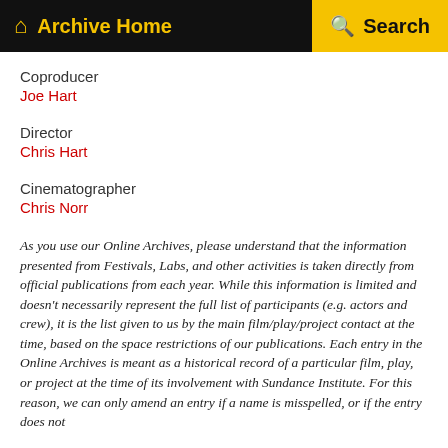Archive Home  Search
Coproducer
Joe Hart
Director
Chris Hart
Cinematographer
Chris Norr
As you use our Online Archives, please understand that the information presented from Festivals, Labs, and other activities is taken directly from official publications from each year. While this information is limited and doesn't necessarily represent the full list of participants (e.g. actors and crew), it is the list given to us by the main film/play/project contact at the time, based on the space restrictions of our publications. Each entry in the Online Archives is meant as a historical record of a particular film, play, or project at the time of its involvement with Sundance Institute. For this reason, we can only amend an entry if a name is misspelled, or if the entry does not